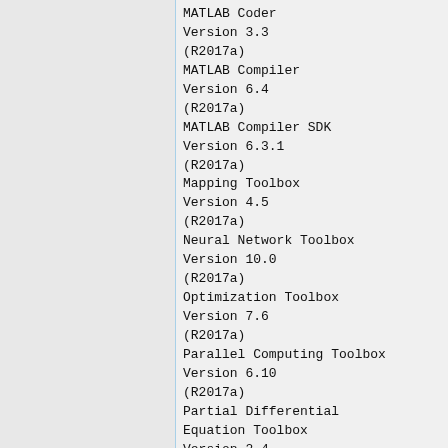MATLAB Coder
Version 3.3
(R2017a)
MATLAB Compiler
Version 6.4
(R2017a)
MATLAB Compiler SDK
Version 6.3.1
(R2017a)
Mapping Toolbox
Version 4.5
(R2017a)
Neural Network Toolbox
Version 10.0
(R2017a)
Optimization Toolbox
Version 7.6
(R2017a)
Parallel Computing Toolbox
Version 6.10
(R2017a)
Partial Differential Equation Toolbox
Version 2.4
(R2017a)